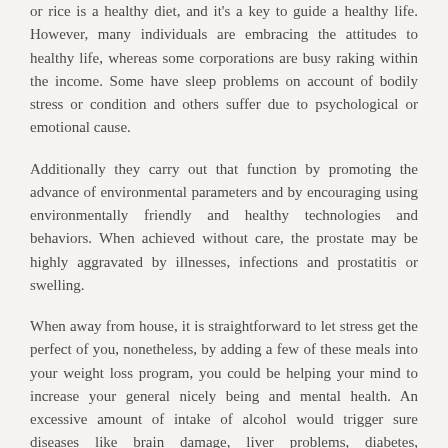or rice is a healthy diet, and it's a key to guide a healthy life. However, many individuals are embracing the attitudes to healthy life, whereas some corporations are busy raking within the income. Some have sleep problems on account of bodily stress or condition and others suffer due to psychological or emotional cause.
Additionally they carry out that function by promoting the advance of environmental parameters and by encouraging using environmentally friendly and healthy technologies and behaviors. When achieved without care, the prostate may be highly aggravated by illnesses, infections and prostatitis or swelling.
When away from house, it is straightforward to let stress get the perfect of you, nonetheless, by adding a few of these meals into your weight loss program, you could be helping your mind to increase your general nicely being and mental health. An excessive amount of intake of alcohol would trigger sure diseases like brain damage, liver problems, diabetes, hypertension and even cancer.